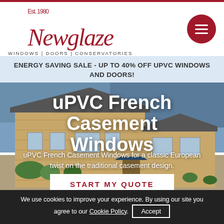Newglaze Est. 1980 — WINDOWS | DOORS | CONSERVATORIES
ENERGY SAVING SALE - UP TO 40% OFF UPVC WINDOWS AND DOORS!
[Figure (photo): Stone building / house exterior with blue-grey sky background, serving as hero image backdrop]
uPVC French Casement Windows
uPVC French Casement Windows for a classic European twist on the traditional casement design.
START MY QUOTE
We use cookies to improve your experience. By using our site you agree to our Cookie Policy. Accept